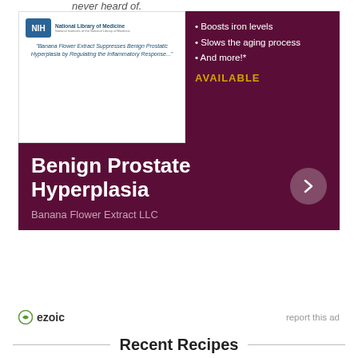[Figure (screenshot): Advertisement for Banana Flower Extract LLC product for Benign Prostate Hyperplasia. Shows NIH National Library of Medicine reference quote, bullet points listing benefits (Boosts iron levels, Slows the aging process, And more!*), and AVAILABLE text. Dark purple/maroon banner with bold white text 'Benign Prostate Hyperplasia' and company name 'Banana Flower Extract LLC' with arrow button.]
ezoic
report this ad
Recent Recipes
[Figure (photo): Blank light gray recipe card image placeholder (left)]
[Figure (photo): Blank light gray recipe card image placeholder (right)]